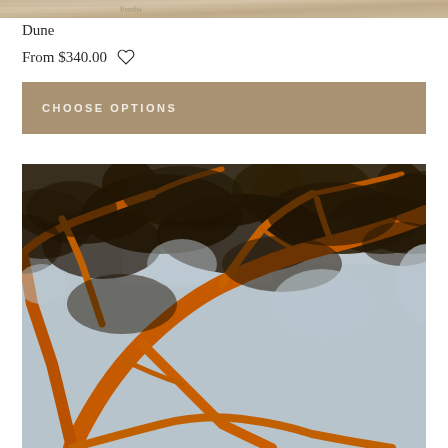[Figure (photo): Top partial image of a sandy dune texture, cropped at the very top of the page]
Dune
From $340.00
CHOOSE OPTIONS
[Figure (photo): Close-up photograph of tree branches shot from below looking up, with orange/amber warm light illuminating the branches and dark foliage against a pale grey-blue sky]